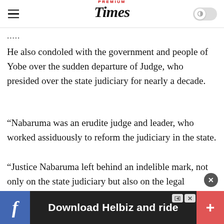PREMIUM Times
....
He also condoled with the government and people of Yobe over the sudden departure of Judge, who presided over the state judiciary for nearly a decade.
“Nabaruma was an erudite judge and leader, who worked assiduously to reform the judiciary in the state.
“Justice Nabaruma left behind an indelible mark, not only on the state judiciary but also on the legal profession in general,’’ Mr Lawan said.
The Senate President prayed to Allah to forgive the departed for his sins and grant him Alianat firdaus.
[Figure (other): Advertisement banner: Download Helbiz and ride]